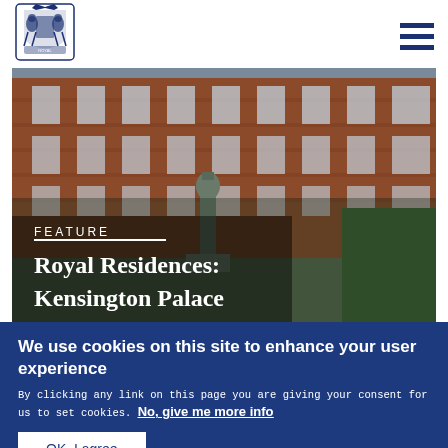[Figure (logo): Royal coat of arms crest logo in blue]
[Figure (photo): Photograph of Kensington Palace brick facade with statue in foreground and green hedges, overlaid with FEATURE label and title text]
Royal Residences: Kensington Palace
We use cookies on this site to enhance your user experience
By clicking any link on this page you are giving your consent for us to set cookies. No, give me more info
OK, I agree